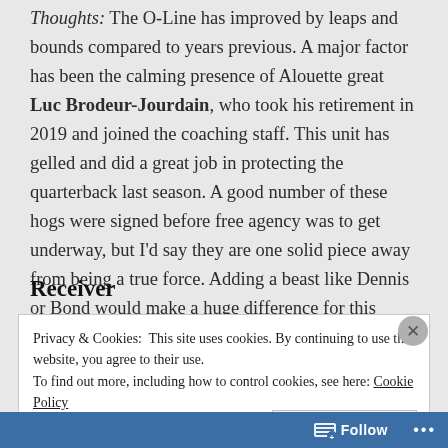Thoughts: The O-Line has improved by leaps and bounds compared to years previous. A major factor has been the calming presence of Alouette great Luc Brodeur-Jourdain, who took his retirement in 2019 and joined the coaching staff. This unit has gelled and did a great job in protecting the quarterback last season. A good number of these hogs were signed before free agency was to get underway, but I'd say they are one solid piece away from being a true force. Adding a beast like Dennis or Bond would make a huge difference for this young, hungry offensive line.
Receiver
Privacy & Cookies: This site uses cookies. By continuing to use this website, you agree to their use. To find out more, including how to control cookies, see here: Cookie Policy
Close and accept
Follow ...